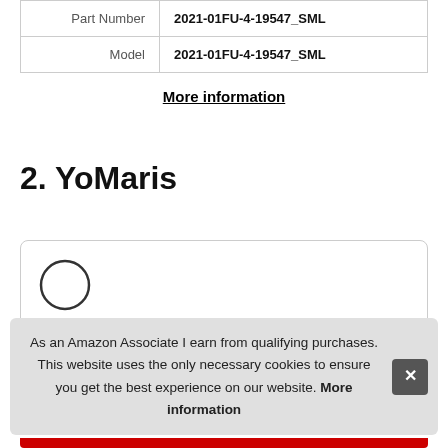|  |  |
| --- | --- |
| Part Number | 2021-01FU-4-19547_SML |
| Model | 2021-01FU-4-19547_SML |
More information
2. YoMaris
[Figure (other): Product card with circular logo placeholder partially visible]
As an Amazon Associate I earn from qualifying purchases. This website uses the only necessary cookies to ensure you get the best experience on our website. More information